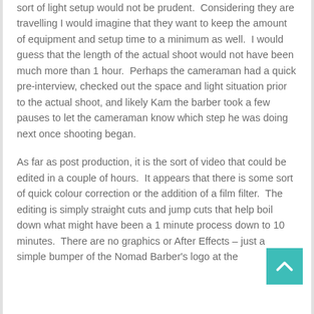sort of light setup would not be prudent. Considering they are travelling I would imagine that they want to keep the amount of equipment and setup time to a minimum as well. I would guess that the length of the actual shoot would not have been much more than 1 hour. Perhaps the cameraman had a quick pre-interview, checked out the space and light situation prior to the actual shoot, and likely Kam the barber took a few pauses to let the cameraman know which step he was doing next once shooting began.
As far as post production, it is the sort of video that could be edited in a couple of hours. It appears that there is some sort of quick colour correction or the addition of a film filter. The editing is simply straight cuts and jump cuts that help boil down what might have been a 1 minute process down to 10 minutes. There are no graphics or After Effects – just a simple bumper of the Nomad Barber's logo at the